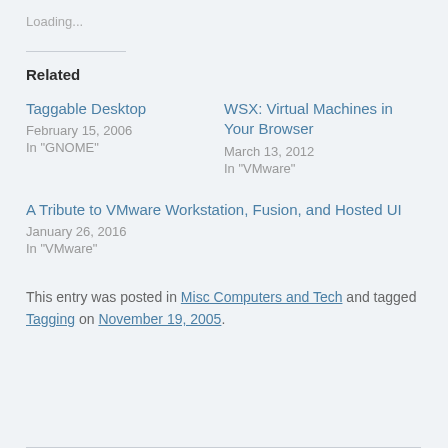Loading...
Related
Taggable Desktop
February 15, 2006
In "GNOME"
WSX: Virtual Machines in Your Browser
March 13, 2012
In "VMware"
A Tribute to VMware Workstation, Fusion, and Hosted UI
January 26, 2016
In "VMware"
This entry was posted in Misc Computers and Tech and tagged Tagging on November 19, 2005.